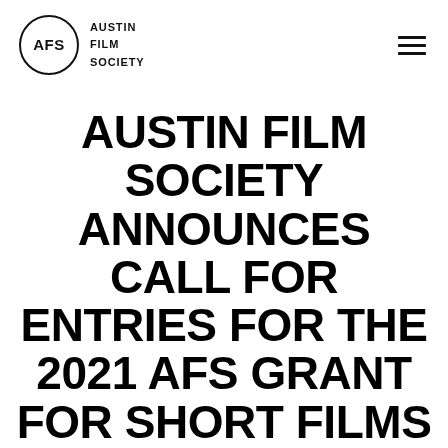AFS AUSTIN FILM SOCIETY
AUSTIN FILM SOCIETY ANNOUNCES CALL FOR ENTRIES FOR THE 2021 AFS GRANT FOR SHORT FILMS - NOW OPEN